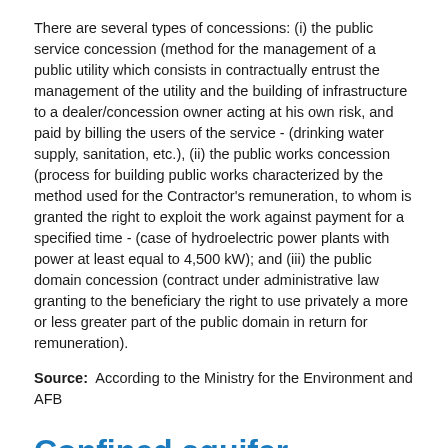There are several types of concessions: (i) the public service concession (method for the management of a public utility which consists in contractually entrust the management of the utility and the building of infrastructure to a dealer/concession owner acting at his own risk, and paid by billing the users of the service - (drinking water supply, sanitation, etc.), (ii) the public works concession (process for building public works characterized by the method used for the Contractor's remuneration, to whom is granted the right to exploit the work against payment for a specified time - (case of hydroelectric power plants with power at least equal to 4,500 kW); and (iii) the public domain concession (contract under administrative law granting to the beneficiary the right to use privately a more or less greater part of the public domain in return for remuneration).
Source: According to the Ministry for the Environment and AFB
Confined aquifer
Sens technique